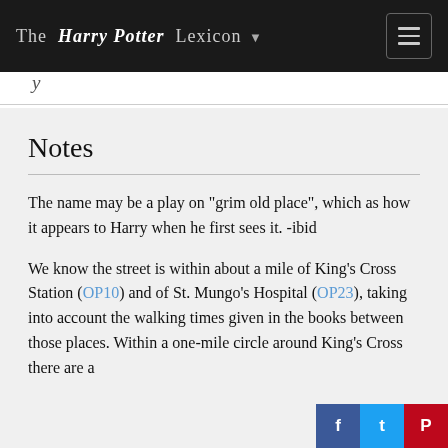The Harry Potter Lexicon
Notes
The name may be a play on "grim old place", which as how it appears to Harry when he first sees it. -ibid
We know the street is within about a mile of King's Cross Station (OP10) and of St. Mungo's Hospital (OP23), taking into account the walking times given in the books between those places. Within a one-mile circle around King's Cross there are a